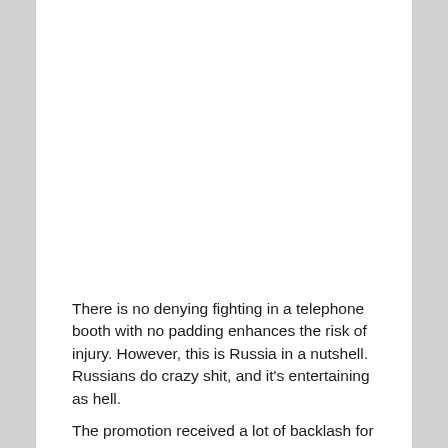There is no denying fighting in a telephone booth with no padding enhances the risk of injury. However, this is Russia in a nutshell. Russians do crazy shit, and it's entertaining as hell.
The promotion received a lot of backlash for